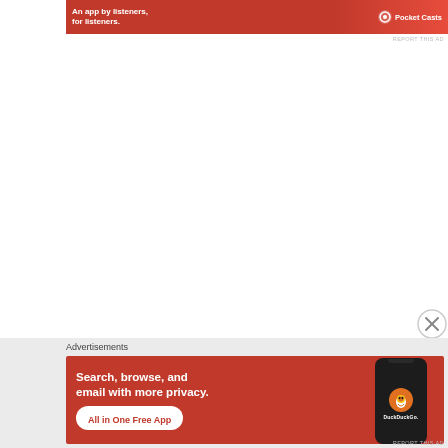[Figure (photo): Pocket Casts advertisement banner: red background with white bold text 'An app by listeners, for listeners.' and Pocket Casts logo on the right with a phone graphic]
REPORT THIS AD
[Figure (logo): Close/dismiss button (circle with X)]
Advertisements
[Figure (photo): DuckDuckGo advertisement: orange-red background with white bold text 'Search, browse, and email with more privacy.' and 'All in One Free App' pill button. Shows DuckDuckGo phone mockup on right with logo and DuckDuckGo text.]
REPORT THIS AD